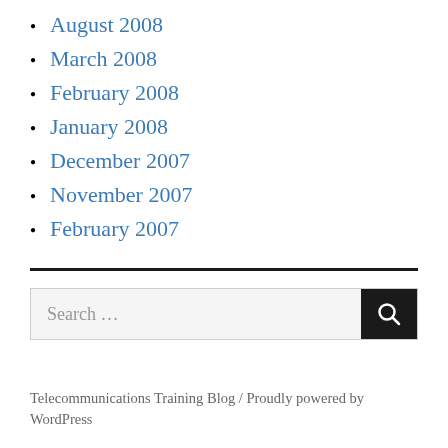August 2008
March 2008
February 2008
January 2008
December 2007
November 2007
February 2007
Telecommunications Training Blog / Proudly powered by WordPress